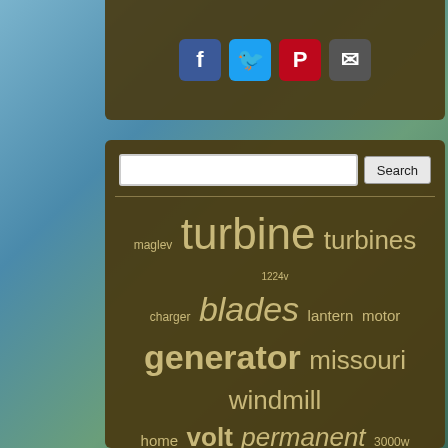[Figure (screenshot): Social media sharing buttons: Facebook, Twitter, Pinterest, Email on dark olive background]
[Figure (infographic): Tag/word cloud related to wind turbines and energy, on dark olive background. Words include: turbine, turbines, 1224v, maglev, blades, charger, lantern, motor, generator, missouri, windmill, home, volt, permanent, 3000w, 400w, magnet, helix, power, vertical, controller, blade, 5000w, charge, 10000w, alternator, horizontal, energy, axis, 8000w, watt, wind, solar, 12v24v, hybrid]
Search